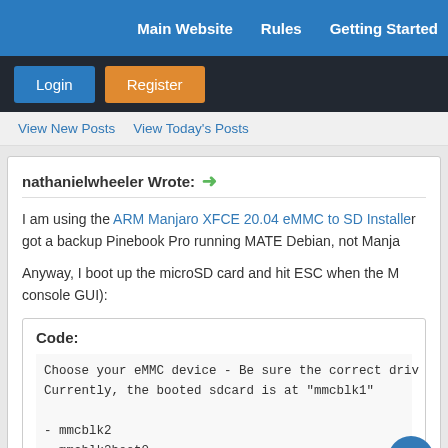Main Website   Rules   Getting Started
Login   Register
View New Posts   View Today's Posts
nathanielwheeler Wrote: →
I am using the ARM Manjaro XFCE 20.04 eMMC to SD Installer, got a backup Pinebook Pro running MATE Debian, not Manja...
Anyway, I boot up the microSD card and hit ESC when the M... console GUI):
Code:
Choose your eMMC device - Be sure the correct driv...
Currently, the booted sdcard is at "mmcblk1"

- mmcblk2
- mmcblk2boot0